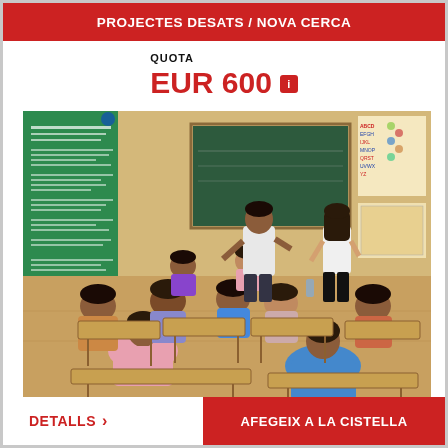PROJECTES DESATS / NOVA CERCA
QUOTA
EUR 600
[Figure (photo): Classroom scene in an Indian school. A male teacher and a female volunteer stand at the front near a green chalkboard. Children sit at wooden desks facing the front. A green educational poster is visible on the left wall and alphabet/subject charts on the right wall.]
DETALLS >
AFEGEIX A LA CISTELLA